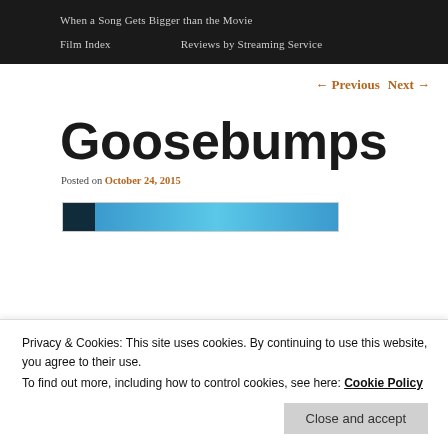When a Song Gets Bigger than the Movie
Film Index   Reviews by Streaming Service
← Previous   Next →
Goosebumps
Posted on October 24, 2015
[Figure (photo): Partial view of a movie image, dark on left transitioning to blue tones]
Privacy & Cookies: This site uses cookies. By continuing to use this website, you agree to their use.
To find out more, including how to control cookies, see here: Cookie Policy
Close and accept